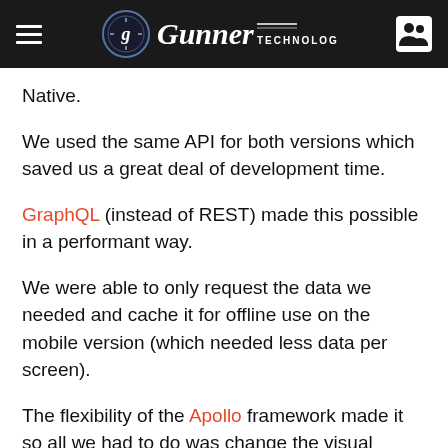Gunner Technology
Native.
We used the same API for both versions which saved us a great deal of development time.
GraphQL (instead of REST) made this possible in a performant way.
We were able to only request the data we needed and cache it for offline use on the mobile version (which needed less data per screen).
The flexibility of the Apollo framework made it so all we had to do was change the visual components of the app between the desktop